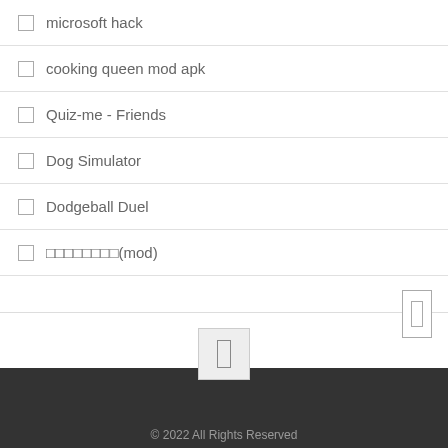microsoft hack
cooking queen mod apk
Quiz-me - Friends
Dog Simulator
Dodgeball Duel
□□□□□□□□(mod)
© 2022 All Rights Reserved